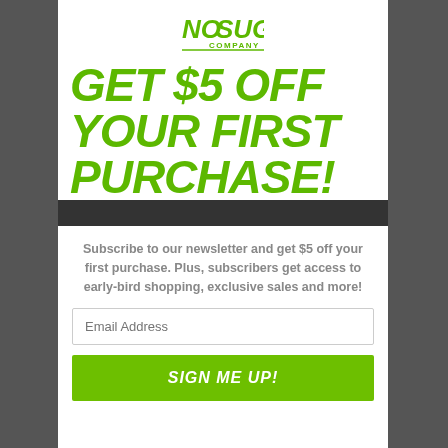[Figure (logo): No Sugar Company logo with green text on white background]
GET $5 OFF YOUR FIRST PURCHASE!
Subscribe to our newsletter and get $5 off your first purchase. Plus, subscribers get access to early-bird shopping, exclusive sales and more!
Email Address
SIGN ME UP!